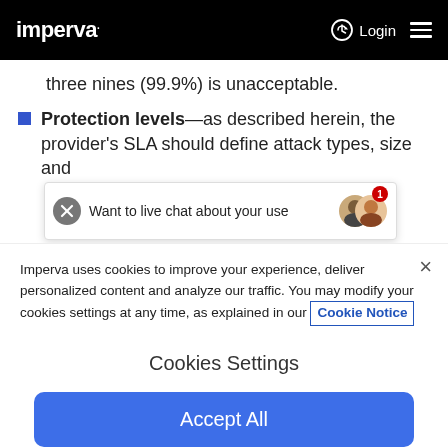imperva  Login ☰
three nines (99.9%) is unacceptable.
Protection levels—as described herein, the provider's SLA should define attack types, size and
Want to live chat about your use
Imperva uses cookies to improve your experience, deliver personalized content and analyze our traffic. You may modify your cookies settings at any time, as explained in our Cookie Notice
Cookies Settings
Accept All